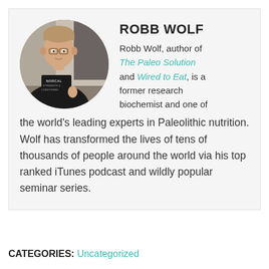[Figure (photo): Circular headshot photo of Robb Wolf wearing a black NorCal Strength & Conditioning t-shirt]
ROBB WOLF
Robb Wolf, author of The Paleo Solution and Wired to Eat, is a former research biochemist and one of the world's leading experts in Paleolithic nutrition. Wolf has transformed the lives of tens of thousands of people around the world via his top ranked iTunes podcast and wildly popular seminar series.
CATEGORIES: Uncategorized